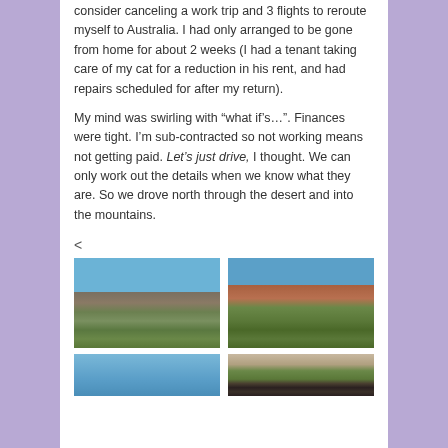consider canceling a work trip and 3 flights to reroute myself to Australia. I had only arranged to be gone from home for about 2 weeks (I had a tenant taking care of my cat for a reduction in his rent, and had repairs scheduled for after my return).
My mind was swirling with “what if’s…”. Finances were tight. I’m sub-contracted so not working means not getting paid. Let’s just drive, I thought. We can only work out the details when we know what they are. So we drove north through the desert and into the mountains.
<
[Figure (photo): Desert rocky hills with blue sky, dry scrubby vegetation in foreground]
[Figure (photo): Red rock mountain peaks with green forested valley and blue sky]
[Figure (photo): Blue water or sky view, partially visible at bottom]
[Figure (photo): Sunset or dusk view through bridge structure with mountains in background]